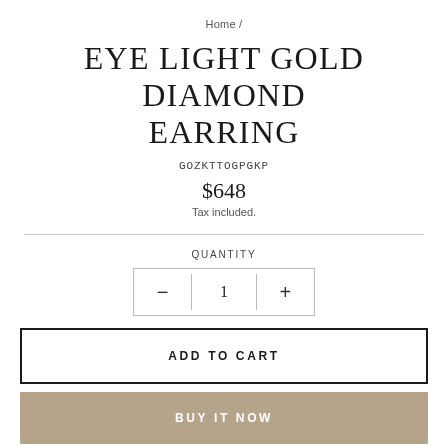Home /
EYE LIGHT GOLD DIAMOND EARRING
GOZKTTOGPGKP
$648
Tax included.
QUANTITY
- 1 +
ADD TO CART
BUY IT NOW